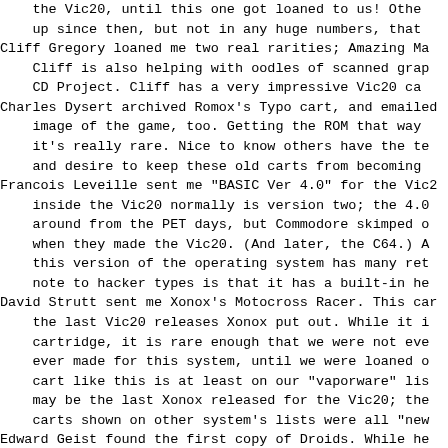the Vic20, until this one got loaned to us! Other up since then, but not in any huge numbers, that Cliff Gregory loaned me two real rarities; Amazing Ma Cliff is also helping with oodles of scanned grap CD Project. Cliff has a very impressive Vic20 ca Charles Dysert archived Romox's Typo cart, and emailed image of the game, too. Getting the ROM that way it's really rare. Nice to know others have the te and desire to keep these old carts from becoming Francois Leveille sent me "BASIC Ver 4.0" for the Vic inside the Vic20 normally is version two; the 4. around from the PET days, but Commodore skimped when they made the Vic20. (And later, the C64.) this version of the operating system has many re note to hacker types is that it has a built-in h David Strutt sent me Xonox's Motocross Racer. This ca the last Vic20 releases Xonox put out. While it cartridge, it is rare enough that we were not ev ever made for this system, until we were loaned cart like this is at least on our "vaporware" li may be the last Xonox released for the Vic20; t carts shown on other system's lists were all "ne Edward Geist found the first copy of Droids. While h willing to risk sending his copy through the mai to me for archiving, he did tell me where to go when he saw another one up for sale. (Which is j Brent Santin loaned me three carts; "Squish 'Em" and and "Space Ric-o-shay". (Vic Rabbit was actually not a complete cart, but the info inside it is j Squish 'Em came on one of Romox' special cartrid